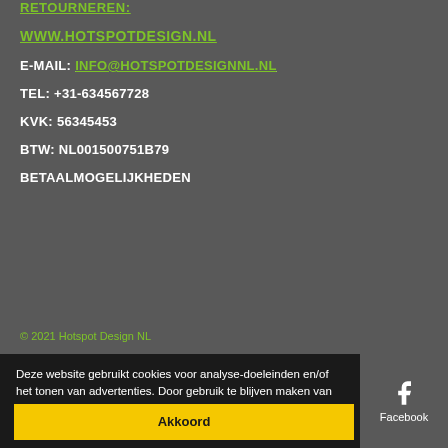RETOURNEREN:
WWW.HOTSPOTDESIGN.NL
E-MAIL: INFO@HOTSPOTDESIGNNL.NL
TEL: +31-634567728
KVK: 56345453
BTW: NL001500751B79
BETAALMOGELIJKHEDEN
© 2021 Hotspot Design NL
Deze website gebruikt cookies voor analyse-doeleinden en/of het tonen van advertenties. Door gebruik te blijven maken van de site gaat u hiermee akkoord.
Akkoord
Facebook